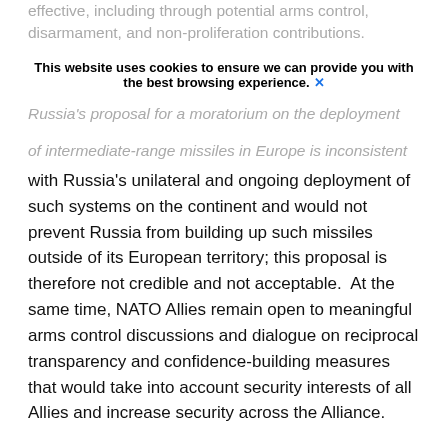effective, including through potential arms control, disarmament, and non-proliferation contributions.
This website uses cookies to ensure we can provide you with the best browsing experience. X
Russia's proposal for a moratorium on the deployment of intermediate-range missiles in Europe is inconsistent
with Russia's unilateral and ongoing deployment of such systems on the continent and would not prevent Russia from building up such missiles outside of its European territory; this proposal is therefore not credible and not acceptable.  At the same time, NATO Allies remain open to meaningful arms control discussions and dialogue on reciprocal transparency and confidence-building measures that would take into account security interests of all Allies and increase security across the Alliance.
47.       The Treaty on the Non-Proliferation of Nuclear Weapons (NPT) remains the essential bulwark against the spread of nuclear weapons, the cornerstone of the global nuclear non-proliferation and disarmament architecture, and the framework for international cooperation in sharing the benefits of the peaceful